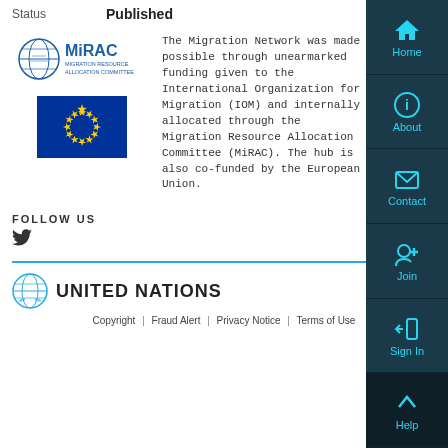Status    Published
[Figure (logo): MiRAC - Migration Resource Allocation Committee logo]
[Figure (illustration): European Union flag - blue background with yellow stars in a circle]
The Migration Network was made possible through unearmarked funding given to the International Organization for Migration (IOM) and internally allocated through the Migration Resource Allocation Committee (MiRAC). The hub is also co-funded by the European Union.
FOLLOW US
[Figure (other): Twitter bird icon]
[Figure (logo): United Nations logo and text]
Copyright | Fraud Alert | Privacy Notice | Terms of Use
[Figure (other): Navigation sidebar with Home, About, Contact, Join, Sign In, Help buttons]